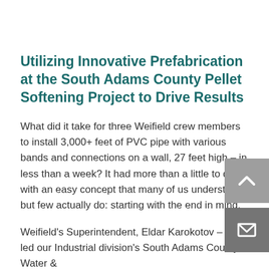Utilizing Innovative Prefabrication at the South Adams County Pellet Softening Project to Drive Results
What did it take for three Weifield crew members to install 3,000+ feet of PVC pipe with various bands and connections on a wall, 27 feet high – in less than a week? It had more than a little to do with an easy concept that many of us understand but few actually do: starting with the end in mind.
Weifield's Superintendent, Eldar Karokotov – who led our Industrial division's South Adams County Water &